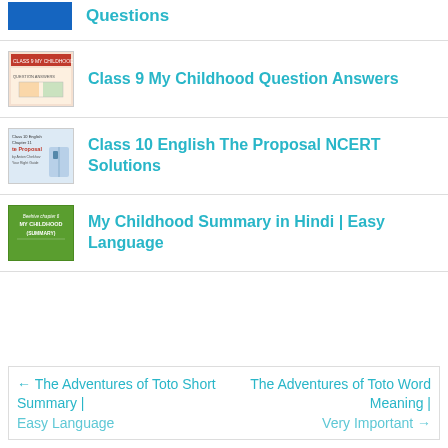Questions
Class 9 My Childhood Question Answers
Class 10 English The Proposal NCERT Solutions
My Childhood Summary in Hindi | Easy Language
← The Adventures of Toto Short Summary | Easy Language
The Adventures of Toto Word Meaning | Very Important →